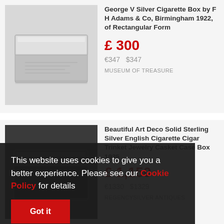[Figure (photo): Silver cigarette box with engraved lid on light grey background]
George V Silver Cigarette Box by F H Adams & Co, Birmingham 1922, of Rectangular Form
£ 300
€347   $347
MUSEUM OF TREASURE
[Figure (photo): Dark background with partial view of an Art Deco silver cigarette/cigar box]
Beautiful Art Deco Solid Sterling Silver English Cigarette Cigar Trinket Jewelry Casket Case Box 1935
£ 1,150
€1330   $1329
REGENCYSILVER ANTIQUES
This website uses cookies to give you a better experience. Please see our Cookie Policy for details